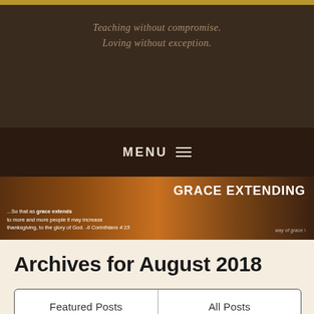Teaching without compromise. Loving without exception.
MENU
[Figure (illustration): Grace Extending banner with dramatic orange and brown sky clouds. Text reads: GRACE EXTENDING. Quote: ...So that as grace extends to more and more people it may increase thanksgiving, to the glory of God. -II Corinthians 4:15. Watermark: way of grace]
Archives for August 2018
Featured Posts | All Posts